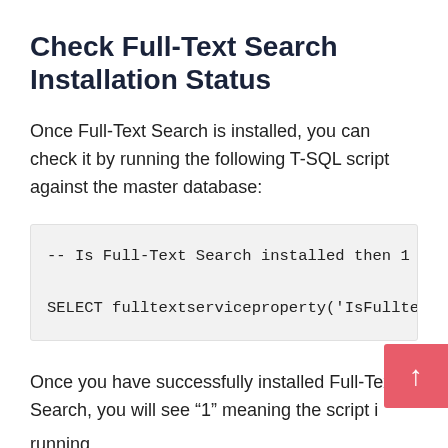Check Full-Text Search Installation Status
Once Full-Text Search is installed, you can check it by running the following T-SQL script against the master database:
-- Is Full-Text Search installed then 1 or 0

SELECT fulltextserviceproperty('IsFulltextIns...
Once you have successfully installed Full-Text Search, you will see "1" meaning the script is running.